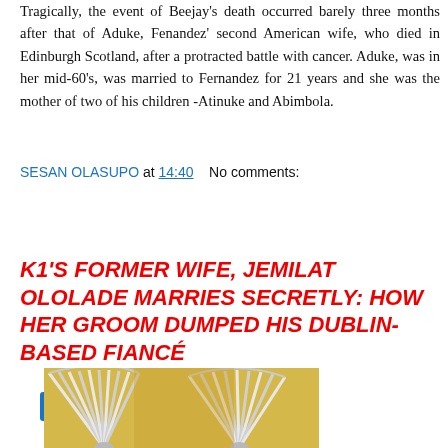Tragically, the event of Beejay's death occurred barely three months after that of Aduke, Fenandez' second American wife, who died in Edinburgh Scotland, after a protracted battle with cancer. Aduke, was in her mid-60's, was married to Fernandez for 21 years and she was the mother of two of his children -Atinuke and Abimbola.
SESAN OLASUPO at 14:40   No comments:
Share
K1'S FORMER WIFE, JEMILAT OLOLADE MARRIES SECRETLY: HOW HER GROOM DUMPED HIS DUBLIN-BASED FIANCÉ
[Figure (photo): Photo showing decorative fan-like pleated fabric arrangements in white/silver and yellow/gold tones, likely a wedding decoration.]